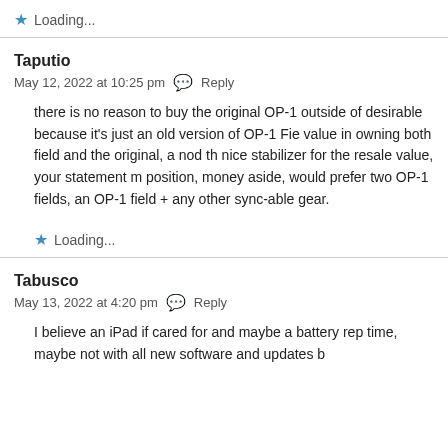★ Loading...
Taputio
May 12, 2022 at 10:25 pm  Reply
there is no reason to buy the original OP-1 outside of desirable because it's just an old version of OP-1 Field value in owning both field and the original, a nod that nice stabilizer for the resale value, your statement m position, money aside, would prefer two OP-1 fields, an OP-1 field + any other sync-able gear.
★ Loading...
Tabusco
May 13, 2022 at 4:20 pm  Reply
I believe an iPad if cared for and maybe a battery rep time, maybe not with all new software and updates b